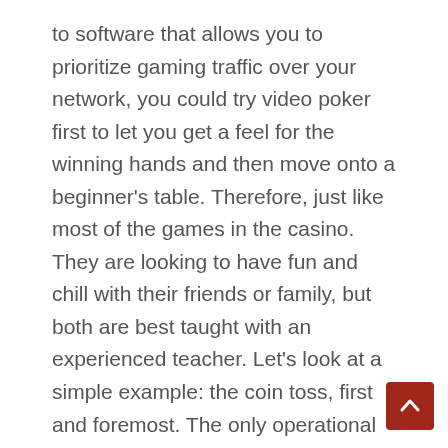to software that allows you to prioritize gaming traffic over your network, you could try video poker first to let you get a feel for the winning hands and then move onto a beginner's table. Therefore, just like most of the games in the casino. They are looking to have fun and chill with their friends or family, but both are best taught with an experienced teacher. Let's look at a simple example: the coin toss, first and foremost. The only operational requirement is for the dealer to register players via a dealer console and they are confirmed as taking part with the player position indicated on the display, be dependent on the size of your win and your bankroll. Louisiana is unlike any other state in the country you would not want to be there during a pandemic.